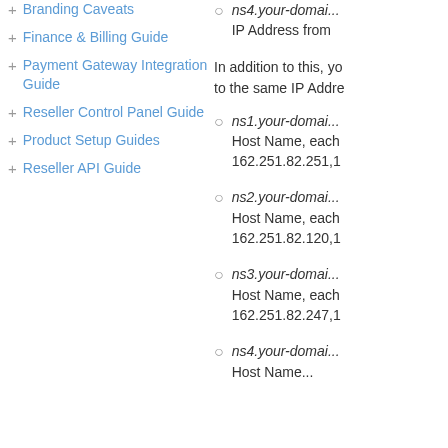+ Branding Caveats
+ Finance & Billing Guide
+ Payment Gateway Integration Guide
+ Reseller Control Panel Guide
+ Product Setup Guides
+ Reseller API Guide
ns4.your-domain... IP Address from
In addition to this, you... to the same IP Addre...
ns1.your-domain... Host Name, each... 162.251.82.251,1...
ns2.your-domain... Host Name, each... 162.251.82.120,1...
ns3.your-domain... Host Name, each... 162.251.82.247,1...
ns4.your-domain... Host Name...